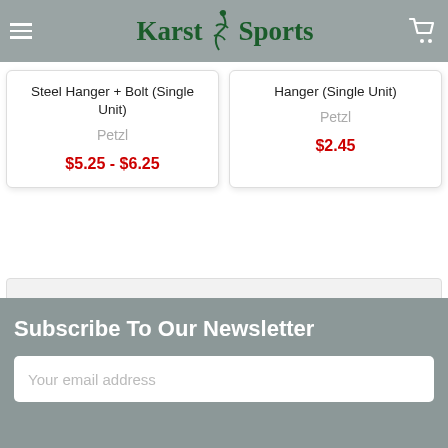[Figure (logo): Karst Sports logo with stylized climber figure, green serif text]
Steel Hanger + Bolt (Single Unit)
Petzl
$5.25 - $6.25
Hanger (Single Unit)
Petzl
$2.45
POPULAR BRANDS
Subscribe To Our Newsletter
Your email address